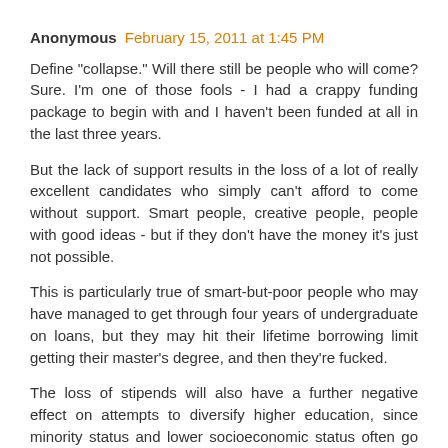Anonymous February 15, 2011 at 1:45 PM
Define "collapse." Will there still be people who will come? Sure. I'm one of those fools - I had a crappy funding package to begin with and I haven't been funded at all in the last three years.
But the lack of support results in the loss of a lot of really excellent candidates who simply can't afford to come without support. Smart people, creative people, people with good ideas - but if they don't have the money it's just not possible.
This is particularly true of smart-but-poor people who may have managed to get through four years of undergraduate on loans, but they may hit their lifetime borrowing limit getting their master's degree, and then they're fucked.
The loss of stipends will also have a further negative effect on attempts to diversify higher education, since minority status and lower socioeconomic status often go hand in hand.